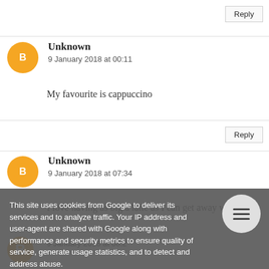Reply
Unknown
9 January 2018 at 00:11
My favourite is cappuccino
Reply
Unknown
9 January 2018 at 07:34
I love having as big a latte as I can get away with!
Unknown
9 January 2018 at 08:2
This site uses cookies from Google to deliver its services and to analyze traffic. Your IP address and user-agent are shared with Google along with performance and security metrics to ensure quality of service, generate usage statistics, and to detect and address abuse.
LEARN MORE
OK